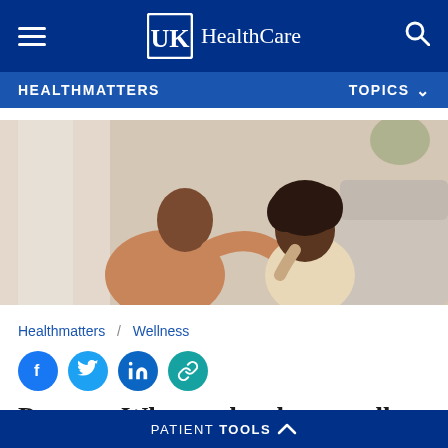UK HealthCare
HEALTHMATTERS    TOPICS
[Figure (photo): A Black man reaching out consolingly toward a young girl who appears sad, sitting near a sofa indoors. A warm, supportive moment between what appears to be a father and child.]
Healthmatters / Wellness
[Figure (infographic): Social share icons: Facebook (blue circle), Twitter (light blue circle), LinkedIn (dark blue circle), Link/copy (teal circle)]
Parents: What to do when to tell...
PATIENT TOOLS ^